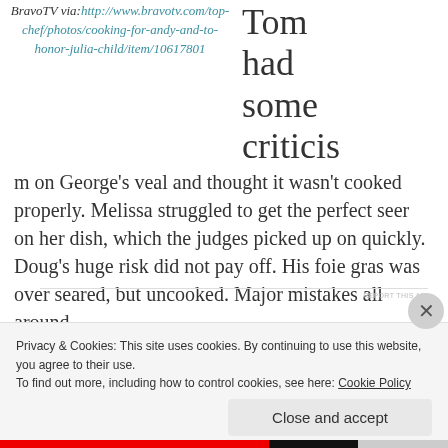BravoTV via: http://www.bravotv.com/top-chef/photos/cooking-for-andy-and-to-honor-julia-child/item/10617801
Tom had some criticism on George's veal and thought it wasn't cooked properly. Melissa struggled to get the perfect seer on her dish, which the judges picked up on quickly. Doug's huge risk did not pay off. His foie gras was over seared, but uncooked. Major mistakes all around.
Privacy & Cookies: This site uses cookies. By continuing to use this website, you agree to their use. To find out more, including how to control cookies, see here: Cookie Policy